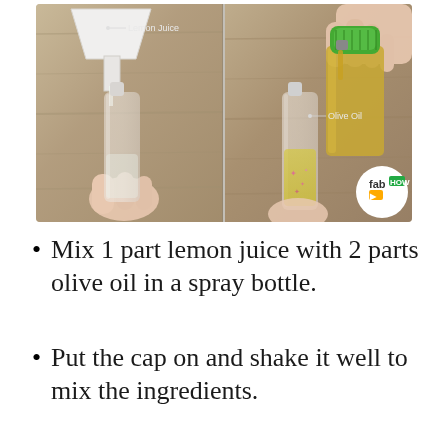[Figure (photo): Two-panel instructional photo. Left panel: A white funnel pouring lemon juice into a small clear spray bottle held by a hand. Label 'Lemon Juice' with a dot. Right panel: An olive oil bottle with a green cap being poured into a similar spray bottle containing yellow oil and pink star confetti. Label 'Olive Oil' with a dot. FabHow logo badge in bottom right corner.]
Mix 1 part lemon juice with 2 parts olive oil in a spray bottle.
Put the cap on and shake it well to mix the ingredients.